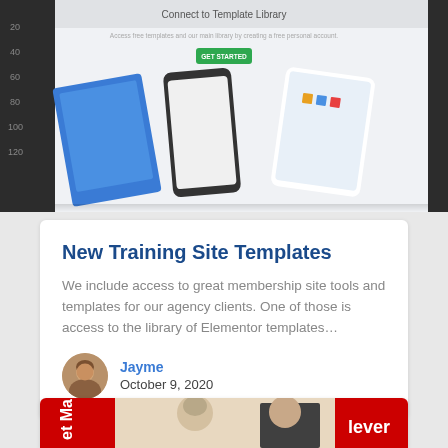[Figure (screenshot): Screenshot of a website showing 'Connect to Template Library' page with mobile device mockups displaying various app templates, and a green 'GET STARTED' button.]
New Training Site Templates
We include access to great membership site tools and templates for our agency clients. One of those is access to the library of Elementor templates…
Jayme
October 9, 2020
[Figure (photo): Partial view of a book or magazine cover showing two people, an older woman whispering to a man, with red banners on the sides and partial text visible.]